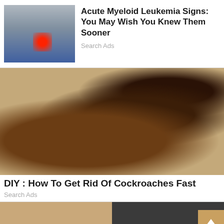[Figure (photo): Person holding their hip/lower back area with a red highlight indicating pain]
Acute Myeloid Leukemia Signs: You May Wish You Knew Them Sooner
Search Ads
[Figure (photo): Close-up photo of multiple cockroaches on a sandy/concrete surface]
DIY : How To Get Rid Of Cockroaches Fast
Search Ads
[Figure (photo): Partial bottom-left image, appears to show a person]
[Figure (photo): Partial bottom-right image, appears to show a woman with dark hair and some food/spices]